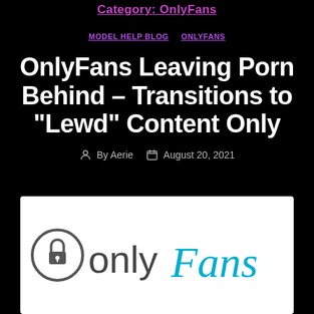Category: OnlyFans
MODEL HELP BLOG   ONLYFANS
OnlyFans Leaving Porn Behind – Transitions to “Lewd” Content Only
By Aerie   August 20, 2021
[Figure (logo): OnlyFans logo on white background — stylized lock icon circle followed by 'only' in dark gray and 'Fans' in teal/blue cursive]